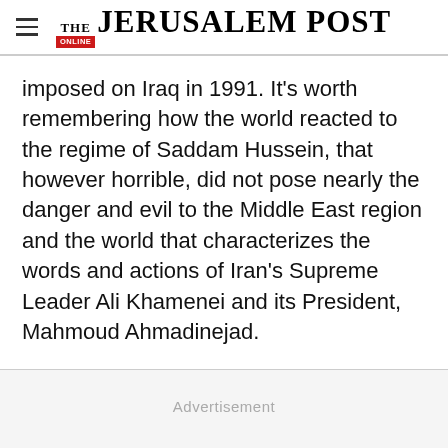THE JERUSALEM POST
imposed on Iraq in 1991. It’s worth remembering how the world reacted to the regime of Saddam Hussein, that however horrible, did not pose nearly the danger and evil to the Middle East region and the world that characterizes the words and actions of Iran’s Supreme Leader Ali Khamenei and its President, Mahmoud Ahmadinejad.
Advertisement